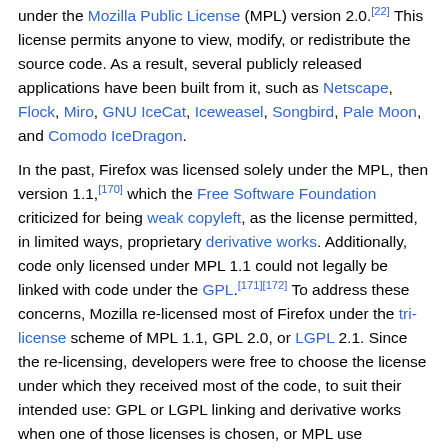under the Mozilla Public License (MPL) version 2.0.[22] This license permits anyone to view, modify, or redistribute the source code. As a result, several publicly released applications have been built from it, such as Netscape, Flock, Miro, GNU IceCat, Iceweasel, Songbird, Pale Moon, and Comodo IceDragon.
In the past, Firefox was licensed solely under the MPL, then version 1.1,[170] which the Free Software Foundation criticized for being weak copyleft, as the license permitted, in limited ways, proprietary derivative works. Additionally, code only licensed under MPL 1.1 could not legally be linked with code under the GPL.[171][172] To address these concerns, Mozilla re-licensed most of Firefox under the tri-license scheme of MPL 1.1, GPL 2.0, or LGPL 2.1. Since the re-licensing, developers were free to choose the license under which they received most of the code, to suit their intended use: GPL or LGPL linking and derivative works when one of those licenses is chosen, or MPL use (including the possibility of proprietary derivative works) if they chose the MPL.[170] However, on January 3, 2012, Mozilla released the GPL-compatible MPL 2.0,[173] and with the release of Firefox 13 on June 5, 2012, Mozilla used it to replace the tri-licensing scheme.[174]